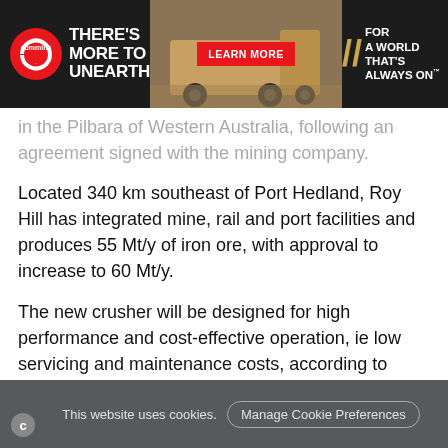[Figure (screenshot): Cummins advertisement banner: dark background with Cummins logo, tagline 'THERE'S MORE TO UNEARTH', mining truck photo, red 'LEARN MORE' button, and slogan 'FOR A WORLD THAT'S ALWAYS ON']
in the Pilbara of Western Australia, following an agreement signed with the mining company.
Located 340 km southeast of Port Hedland, Roy Hill has integrated mine, rail and port facilities and produces 55 Mt/y of iron ore, with approval to increase to 60 Mt/y.
The new crusher will be designed for high performance and cost-effective operation, ie low servicing and maintenance costs, according to thyssenkrupp.
Ben Suda, Head of Sales at thyssenkrupp Industrial Solutions (Australia), said: “We are excited and grateful for
This website uses cookies.  Manage Cookie Preferences